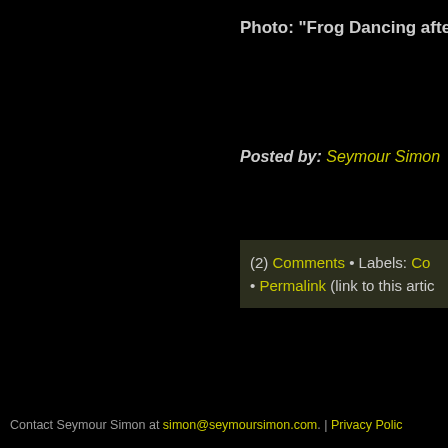Photo: "Frog Dancing after Ra
Posted by: Seymour Simon
(2) Comments • Labels: Co
• Permalink (link to this artic
Contact Seymour Simon at simon@seymoursimon.com. | Privacy Polic